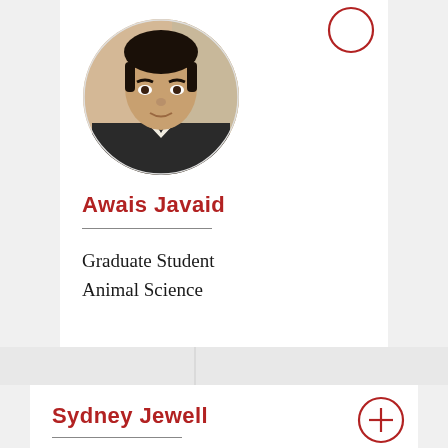[Figure (photo): Circular profile photo of Awais Javaid, a young man in formal attire]
Awais Javaid
Graduate Student
Animal Science
Sydney Jewell
Graduate Student